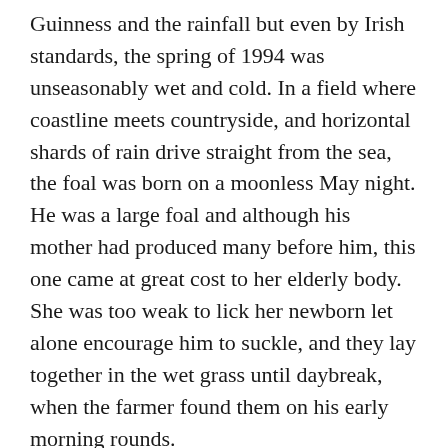Guinness and the rainfall but even by Irish standards, the spring of 1994 was unseasonably wet and cold. In a field where coastline meets countryside, and horizontal shards of rain drive straight from the sea, the foal was born on a moonless May night. He was a large foal and although his mother had produced many before him, this one came at great cost to her elderly body. She was too weak to lick her newborn let alone encourage him to suckle, and they lay together in the wet grass until daybreak, when the farmer found them on his early morning rounds.
Cussing that his inattention could cost him dearly, he hoisted the foal up onto his shoulders, and with the mare following, took them to a waiting barn where old straw was piled up high to make a warm